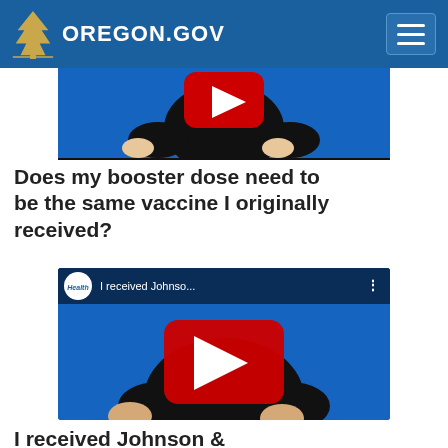Oregon.gov
[Figure (screenshot): YouTube video thumbnail showing a person in a dark shirt making sign language gestures against a blue background, with a red YouTube play button visible at top]
Does my booster dose need to be the same vaccine I originally received?
[Figure (screenshot): YouTube video thumbnail with Health logo circle, title 'I received Johnso...', and a person making sign language gestures against a blue background, with a large red YouTube play button in the center]
I received Johnson &